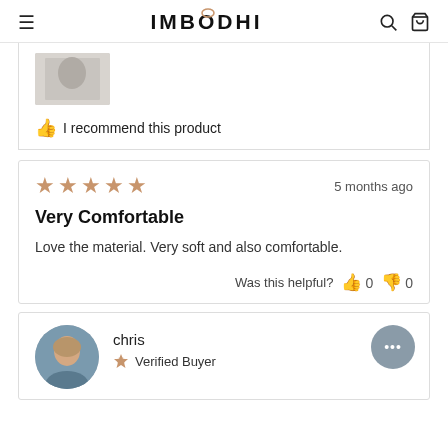IMBŌDHI
[Figure (photo): Partial product image, cropped at top]
👍 I recommend this product
★★★★★  5 months ago
Very Comfortable
Love the material. Very soft and also comfortable.
Was this helpful? 👍 0  👎 0
chris  Verified Buyer